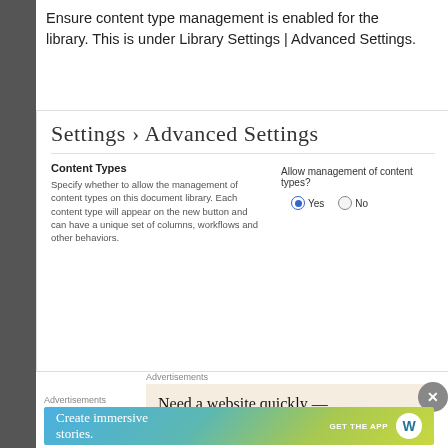Ensure content type management is enabled for the library. This is under Library Settings | Advanced Settings.
[Figure (screenshot): Screenshot of SharePoint Library Settings > Advanced Settings page showing Content Types section with 'Allow management of content types?' radio buttons with 'Yes' selected.]
Advertisements
[Figure (screenshot): Advertisement banner: 'Need a website quickly —' on a beige background.]
Advertisements
[Figure (illustration): WordPress advertisement banner: 'Create immersive stories. GET THE APP' with WordPress logo on gradient background.]